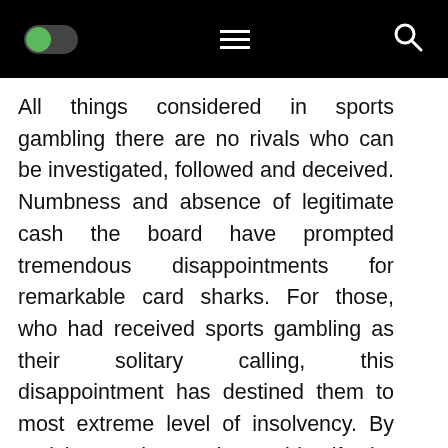Toggle menu / hamburger / search icons on black navigation bar
All things considered in sports gambling there are no rivals who can be investigated, followed and deceived. Numbness and absence of legitimate cash the board have prompted tremendous disappointments for remarkable card sharks. For those, who had received sports gambling as their solitary calling, this disappointment has destined them to most extreme level of insolvency. By and large, players do not identify the grave results which happen after the unremitting misfortunes. Speculators probably would not win a losing wager by having more cash yet they unquestionably can play for longer wagers s manner remunerating their prior loses.